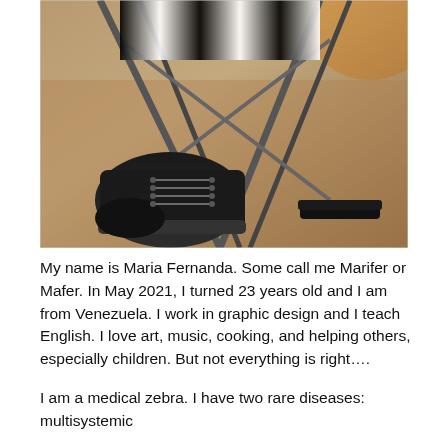[Figure (photo): Close-up photo of the underside of a wheelchair showing black high-top sneakers resting on the footrest, with the metal frame of the wheelchair visible, the floor beneath is a speckled tile, and a striped fabric is partially visible at the top.]
My name is Maria Fernanda. Some call me Marifer or Mafer. In May 2021, I turned 23 years old and I am from Venezuela. I work in graphic design and I teach English. I love art, music, cooking, and helping others, especially children. But not everything is right….
I am a medical zebra. I have two rare diseases: multisystemic